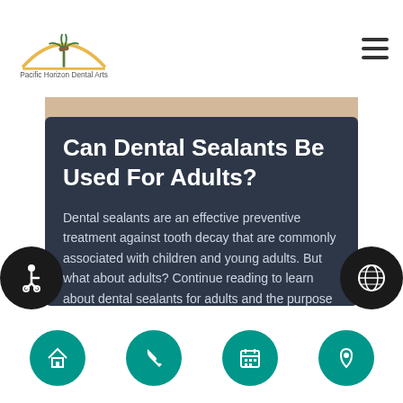Pacific Horizon Dental Arts
Can Dental Sealants Be Used For Adults?
Dental sealants are an effective preventive treatment against tooth decay that are commonly associated with children and young adults. But what about adults? Continue reading to learn about dental sealants for adults and the purpose the treatment serves.Tooth decay and gum disease are the major causes of tooth loss in adults. The two conditions are…
Navigation icons: home, phone, calendar, location